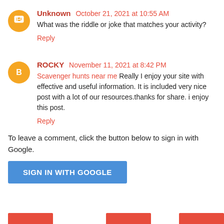Unknown October 21, 2021 at 10:55 AM
What was the riddle or joke that matches your activity?
Reply
ROCKY November 11, 2021 at 8:42 PM
Scavenger hunts near me Really I enjoy your site with effective and useful information. It is included very nice post with a lot of our resources.thanks for share. i enjoy this post.
Reply
To leave a comment, click the button below to sign in with Google.
SIGN IN WITH GOOGLE